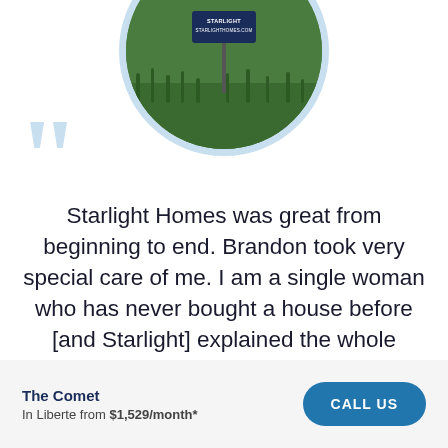[Figure (photo): Circular cropped photo showing green grass lawn with a Starlight Homes yard sign that reads 'STARLIGHTHOMES.COM', with a light blue circular border]
Starlight Homes was great from beginning to end. Brandon took very special care of me. I am a single woman who has never bought a house before [and Starlight] explained the whole process and they held my hand and reassured me that everything would be okay. Today I am in my dream house and loving it. Thanks, Starlight
The Comet
In Liberte from $1,529/month*
CALL US